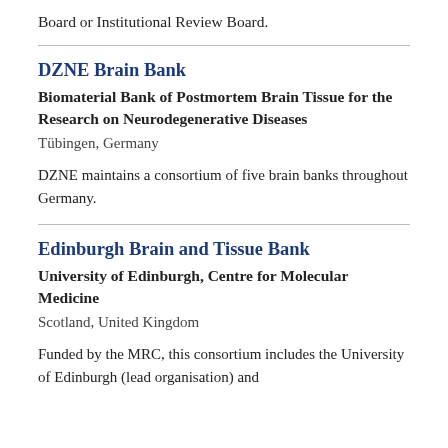Board or Institutional Review Board.
DZNE Brain Bank
Biomaterial Bank of Postmortem Brain Tissue for the Research on Neurodegenerative Diseases
Tübingen, Germany
DZNE maintains a consortium of five brain banks throughout Germany.
Edinburgh Brain and Tissue Bank
University of Edinburgh, Centre for Molecular Medicine
Scotland, United Kingdom
Funded by the MRC, this consortium includes the University of Edinburgh (lead organisation) and...